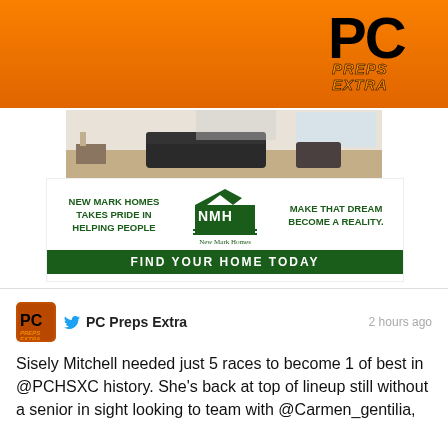[Figure (logo): PC Preps Extra logo on orange background header bar]
[Figure (photo): Interior home photo showing living room with hardwood floors and sofa]
[Figure (infographic): New Mark Homes advertisement with NMH logo, taglines: NEW MARK HOMES TAKES PRIDE IN HELPING PEOPLE / MAKE THAT DREAM BECOME A REALITY. / FIND YOUR HOME TODAY]
[Figure (screenshot): Tweet from PC Preps Extra posted 2 hours ago]
Sisely Mitchell needed just 5 races to become 1 of best in @PCHSXC history. She's back at top of lineup still without a senior in sight looking to team with @Carmen_gentilia,